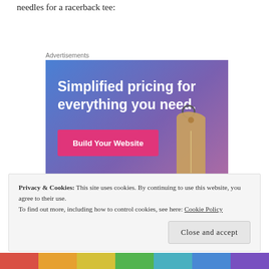needles for a racerback tee:
Advertisements
[Figure (screenshot): Advertisement banner with blue-to-purple gradient background. Large white bold text reads 'Simplified pricing for everything you need.' A pink/magenta button says 'Build Your Website'. A tan price tag illustration is on the right side.]
Privacy & Cookies: This site uses cookies. By continuing to use this website, you agree to their use.
To find out more, including how to control cookies, see here: Cookie Policy
Close and accept